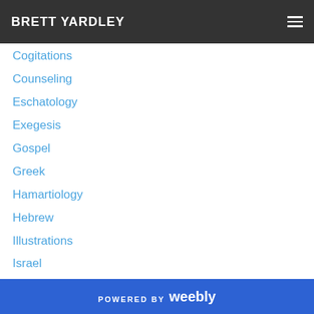BRETT YARDLEY
Cogitations
Counseling
Eschatology
Exegesis
Gospel
Greek
Hamartiology
Hebrew
Illustrations
Israel
Leadership
Matt Mark Luke John
Matt-Mark-Luke-John
New Testament Theology
Old Testament Theology
POWERED BY weebly